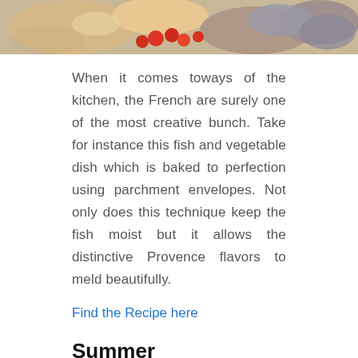[Figure (photo): Photo of a fish and vegetable dish with colorful ingredients including tomatoes and other vegetables]
When it comes toways of the kitchen, the French are surely one of the most creative bunch. Take for instance this fish and vegetable dish which is baked to perfection using parchment envelopes. Not only does this technique keep the fish moist but it allows the distinctive Provence flavors to meld beautifully.
Find the Recipe here
Summer
When: June to September